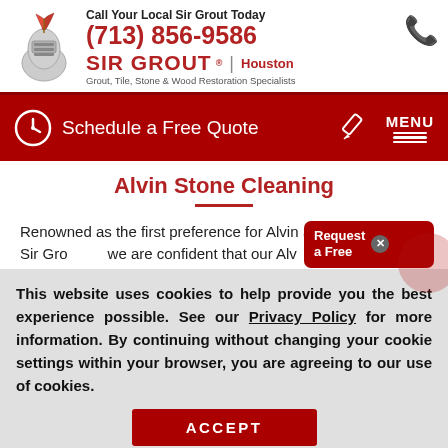Call Your Local Sir Grout Today (713) 856-9586 | SIR GROUT® | Houston | Grout, Tile, Stone & Wood Restoration Specialists
Schedule a Free Quote MENU
Alvin Stone Cleaning
Renowned as the first preference for Alvin Stone Cleaning, at Sir Grout we are confident that our Alvin...
This website uses cookies to help provide you the best experience possible. See our Privacy Policy for more information. By continuing without changing your cookie settings within your browser, you are agreeing to our use of cookies.
ACCEPT